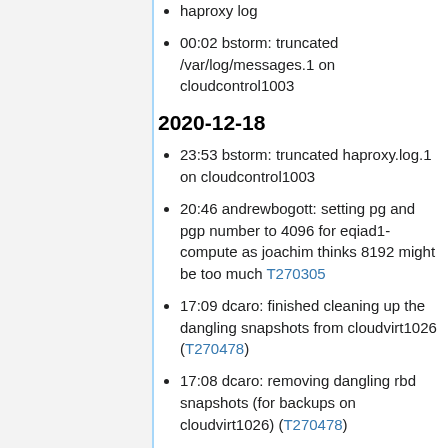haproxy log
00:02 bstorm: truncated /var/log/messages.1 on cloudcontrol1003
2020-12-18
23:53 bstorm: truncated haproxy.log.1 on cloudcontrol1003
20:46 andrewbogott: setting pg and pgp number to 4096 for eqiad1-compute as joachim thinks 8192 might be too much T270305
17:09 dcaro: finished cleaning up the dangling snapshots from cloudvirt1026 (T270478)
17:08 dcaro: removing dangling rbd snapshots (for backups on cloudvirt1026) (T270478)
17:06 dcaro: finished cleaning up the dangling snapshots from